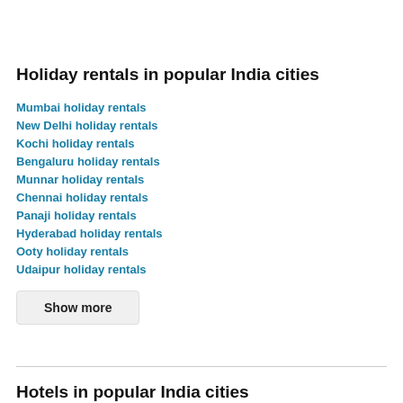Holiday rentals in popular India cities
Mumbai holiday rentals
New Delhi holiday rentals
Kochi holiday rentals
Bengaluru holiday rentals
Munnar holiday rentals
Chennai holiday rentals
Panaji holiday rentals
Hyderabad holiday rentals
Ooty holiday rentals
Udaipur holiday rentals
Show more
Hotels in popular India cities